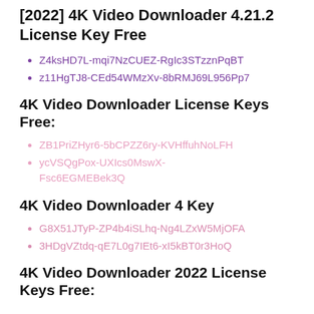[2022] 4K Video Downloader 4.21.2 License Key Free
Z4ksHD7L-mqi7NzCUEZ-RgIc3STzznPqBT
z11HgTJ8-CEd54WMzXv-8bRMJ69L956Pp7
4K Video Downloader License Keys Free:
ZB1PriZHyr6-5bCPZZ6ry-KVHffuhNoLFH
ycVSQgPox-UXIcs0MswX-Fsc6EGMEBek3Q
4K Video Downloader 4 Key
G8X51JTyP-ZP4b4iSLhq-Ng4LZxW5MjOFA
3HDgVZtdq-qE7L0g7IEt6-xI5kBT0r3HoQ
4K Video Downloader 2022 License Keys Free: